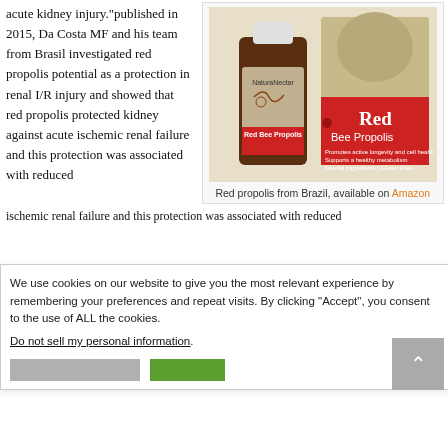acute kidney injury.”published in 2015, Da Costa MF and his team from Brasil investigated red propolis potential as a protection in renal I/R injury and showed that red propolis protected kidney against acute ischemic renal failure and this protection was associated with reduced
[Figure (photo): Product photo of NaturaNectar Red Bee Propolis bottle and box, a dietary supplement from Brazil.]
Red propolis from Brazil, available on Amazon
We use cookies on our website to give you the most relevant experience by remembering your preferences and repeat visits. By clicking “Accept”, you consent to the use of ALL the cookies.
Do not sell my personal information.